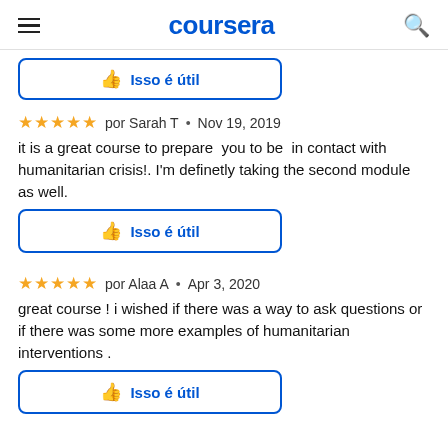coursera
[Figure (other): Isso é útil button (thumbs up icon, blue outline rounded rectangle) — partial, top of page]
⭐⭐⭐⭐⭐  por Sarah T  •  Nov 19, 2019
it is a great course to prepare  you to be  in contact with humanitarian crisis!. I'm definetly taking the second module as well.
[Figure (other): Isso é útil button (thumbs up icon, blue outline rounded rectangle)]
⭐⭐⭐⭐⭐  por Alaa A  •  Apr 3, 2020
great course ! i wished if there was a way to ask questions or if there was some more examples of humanitarian interventions .
[Figure (other): Isso é útil button (thumbs up icon, blue outline rounded rectangle)]